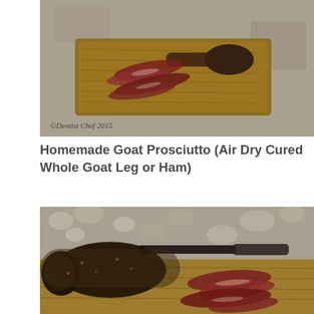[Figure (photo): Sliced goat prosciutto on a wooden cutting board, with a bone-in leg piece. Stone/concrete surface background. Watermark reads '©Dentist Chef 2015'.]
Homemade Goat Prosciutto (Air Dry Cured Whole Goat Leg or Ham)
[Figure (photo): Close-up of a whole cured goat leg (prosciutto) with bone, showing dark exterior crust and sliced cured meat on a wooden board. Pebbled surface background.]